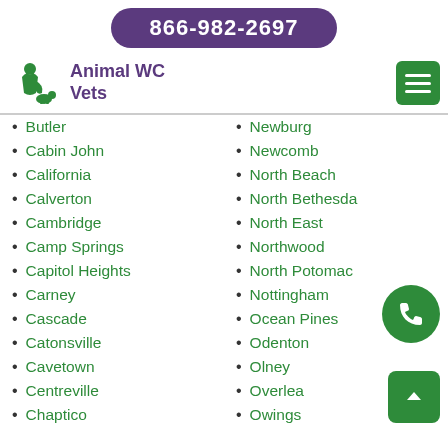866-982-2697
Animal WC Vets
Butler
Cabin John
California
Calverton
Cambridge
Camp Springs
Capitol Heights
Carney
Cascade
Catonsville
Cavetown
Centreville
Chaptico
Newburg
Newcomb
North Beach
North Bethesda
North East
Northwood
North Potomac
Nottingham
Ocean Pines
Odenton
Olney
Overlea
Owings